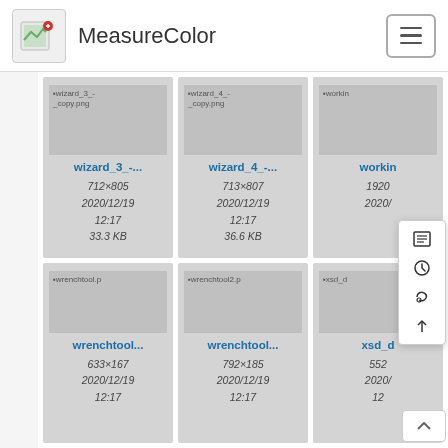MeasureColor
[Figure (screenshot): File browser grid showing image file thumbnails with metadata. Top row: wizard_3_-_copy.png (712×805, 2020/12/19 12:17, 33.3 KB), wizard_4_-_copy.png (713×807, 2020/12/19 12:17, 36.6 KB), working... (1920×..., 2020/...). Bottom row: wrenchtool... (633×167, 2020/12/19 12:17), wrenchtool... (792×185, 2020/12/19 12:17), xsd_d... (552×..., 2020/... 12:...)]
wizard_3_-... | 712×805 | 2020/12/19 12:17 | 33.3 KB
wizard_4_-... | 713×807 | 2020/12/19 12:17 | 36.6 KB
workin... | 1920 | 2020/...
wrenchtool... | 633×167 | 2020/12/19 12:17
wrenchtool... | 792×185 | 2020/12/19 12:17
xsd_d... | 552×...